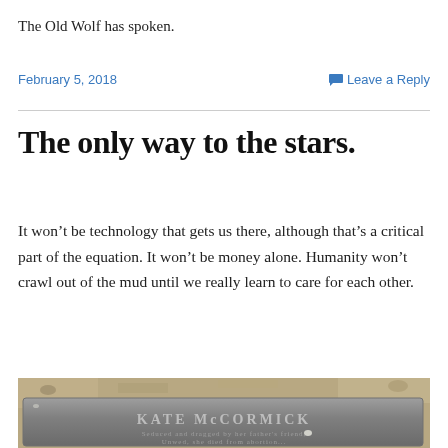The Old Wolf has spoken.
February 5, 2018
Leave a Reply
The only way to the stars.
It won't be technology that gets us there, although that's a critical part of the equation. It won't be money alone. Humanity won't crawl out of the mud until we really learn to care for each other.
[Figure (photo): A gravestone flat marker for Kate McCormick with partially legible text below the name mentioning 'Seduced and dragged by her father's friend, Unwed, she died from abortion...' — a historical grave marker photographed outdoors on dirt ground.]